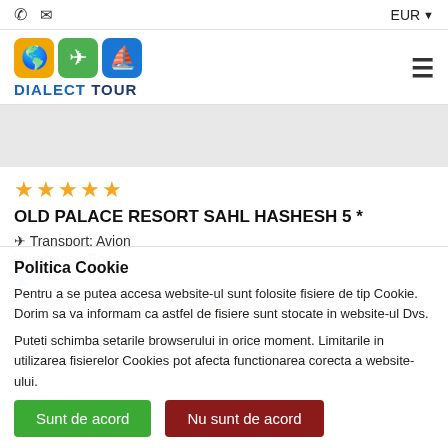EUR
[Figure (logo): Dialect Tour logo with globe, airplane, and ship icons]
[Figure (photo): Gray placeholder image for hotel photo]
★★★★★
OLD PALACE RESORT SAHL HASHESH 5 *
✈ Transport: Avion
Hurghada - Egipt
28.12.2019 - 04.01.2020
Politica Cookie
Pentru a se putea accesa website-ul sunt folosite fisiere de tip Cookie. Dorim sa va informam ca astfel de fisiere sunt stocate in website-ul Dvs.
Puteti schimba setarile browserului in orice moment. Limitarile in utilizarea fisierelor Cookies pot afecta functionarea corecta a website-ului.
Sunt de acord
Nu sunt de acord